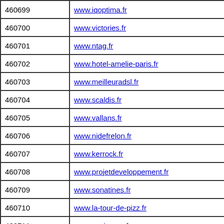| ID | URL |
| --- | --- |
| 460699 | www.iqoptima.fr |
| 460700 | www.victories.fr |
| 460701 | www.ntag.fr |
| 460702 | www.hotel-amelie-paris.fr |
| 460703 | www.meilleuradsl.fr |
| 460704 | www.scaldis.fr |
| 460705 | www.vallans.fr |
| 460706 | www.nidefrelon.fr |
| 460707 | www.kerrock.fr |
| 460708 | www.projetdeveloppement.fr |
| 460709 | www.sonatines.fr |
| 460710 | www.la-tour-de-pizz.fr |
| 460711 | www.socio-eco.fr |
| 460712 | www.040404.fr |
| 460713 | www.superstrong.fr |
| 460714 | www.??? |